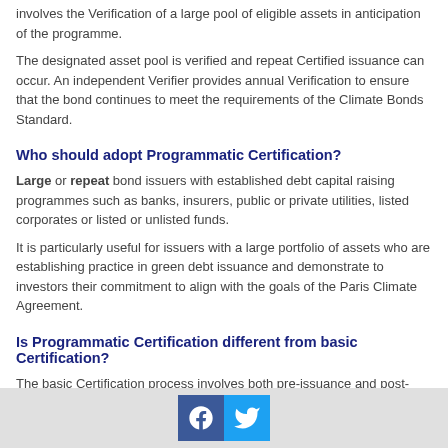involves the Verification of a large pool of eligible assets in anticipation of the programme.
The designated asset pool is verified and repeat Certified issuance can occur. An independent Verifier provides annual Verification to ensure that the bond continues to meet the requirements of the Climate Bonds Standard.
Who should adopt Programmatic Certification?
Large or repeat bond issuers with established debt capital raising programmes such as banks, insurers, public or private utilities, listed corporates or listed or unlisted funds.
It is particularly useful for issuers with a large portfolio of assets who are establishing practice in green debt issuance and demonstrate to investors their commitment to align with the goals of the Paris Climate Agreement.
Is Programmatic Certification different from basic Certification?
The basic Certification process involves both pre-issuance and post-issuance steps for each issuance to receive Certification.
Programmatic Certification requires pre-issuance and post-issuance V...
Facebook | Twitter social icons